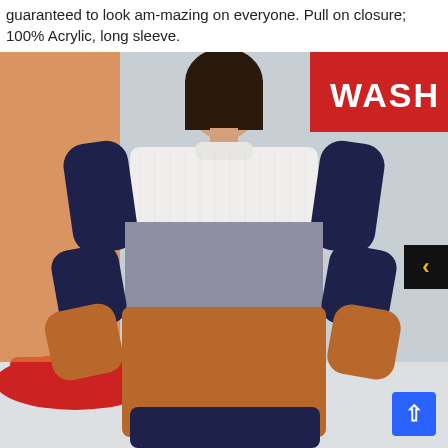guaranteed to look am-mazing on everyone. Pull on closure; 100% Acrylic, long sleeve.
[Figure (photo): Back view of a woman wearing a color-block knit sweater with white, navy, grey, and rust/caramel stripes, standing outdoors near a car wash with a red car visible in the background.]